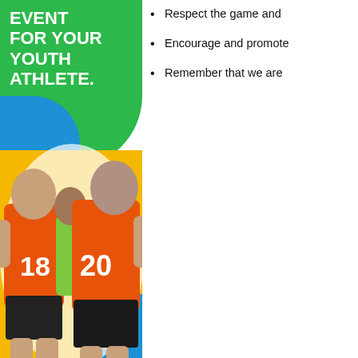EVENT FOR YOUR YOUTH ATHLETE.
[Figure (illustration): Youth athletes in orange numbered jerseys (18 and 20) standing together, with a colorful green, blue, and yellow background graphic]
Respect the game and
Encourage and promote
Remember that we are